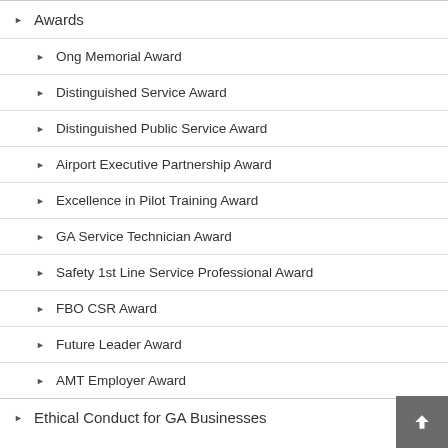Awards
Ong Memorial Award
Distinguished Service Award
Distinguished Public Service Award
Airport Executive Partnership Award
Excellence in Pilot Training Award
GA Service Technician Award
Safety 1st Line Service Professional Award
FBO CSR Award
Future Leader Award
AMT Employer Award
Ethical Conduct for GA Businesses